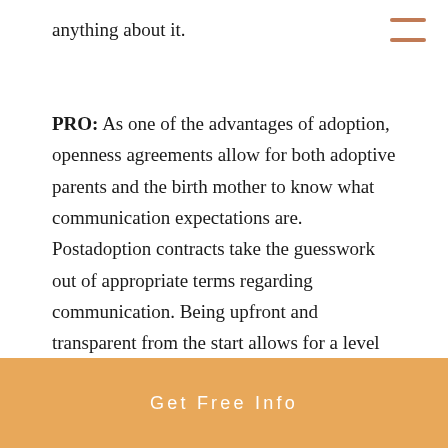anything about it.
PRO: As one of the advantages of adoption, openness agreements allow for both adoptive parents and the birth mother to know what communication expectations are. Postadoption contracts take the guesswork out of appropriate terms regarding communication. Being upfront and transparent from the start allows for a level of comfort for all parties involved in the adoption. Ultimately, such agreements
Get Free Info